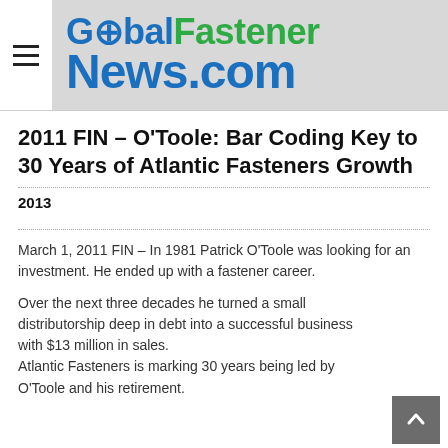GlobalFastenerNews.com
2011 FIN – O'Toole: Bar Coding Key to 30 Years of Atlantic Fasteners Growth
2013
March 1, 2011 FIN – In 1981 Patrick O'Toole was looking for an investment. He ended up with a fastener career.
Over the next three decades he turned a small distributorship deep in debt into a successful business with $13 million in sales. Atlantic Fasteners is marking 30 years being led by O'Toole and his retirement.